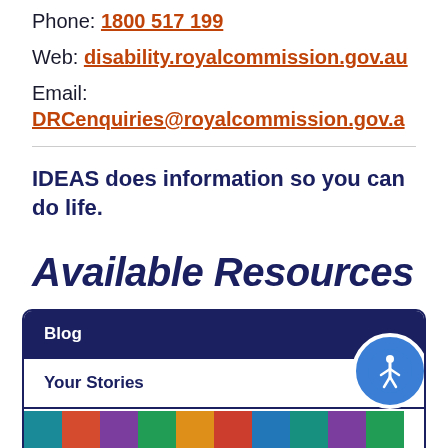Phone: 1800 517 199
Web: disability.royalcommission.gov.au
Email: DRCenquiries@royalcommission.gov.au
IDEAS does information so you can do life.
Available Resources
| Blog |
| --- |
| Your Stories |
| [image] |